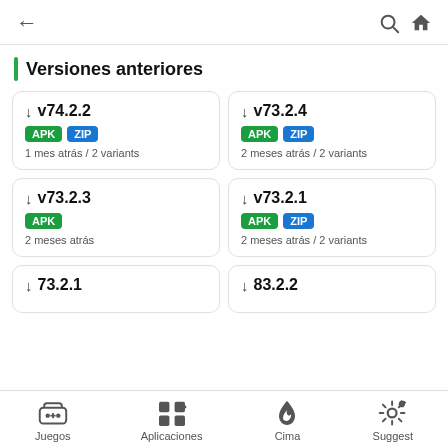← (back) 🔍 🏠
Versiones anteriores
↓ v74.2.2 | APK ZIP | 1 mes atrás / 2 variants
↓ v73.2.4 | APK ZIP | 2 meses atrás / 2 variants
↓ v73.2.3 | APK | 2 meses atrás
↓ v73.2.1 | APK ZIP | 2 meses atrás / 2 variants
↓ 73.2.1 (partial)
↓ 83.2.2 (partial)
Juegos | Aplicaciones | Cima | Suggest